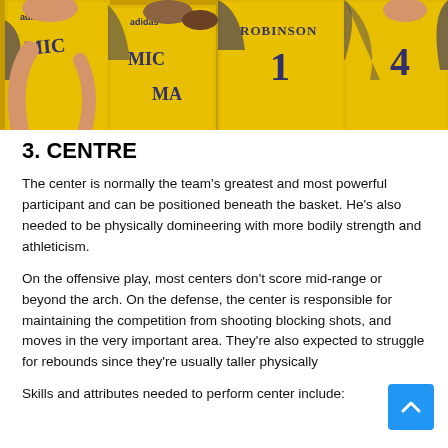[Figure (photo): Basketball players in yellow Michigan jerseys including Robinson #1 and player #4]
3. CENTRE
The center is normally the team's greatest and most powerful participant and can be positioned beneath the basket. He's also needed to be physically domineering with more bodily strength and athleticism.
On the offensive play, most centers don't score mid-range or beyond the arch. On the defense, the center is responsible for maintaining the competition from shooting blocking shots, and moves in the very important area. They're also expected to struggle for rebounds since they're usually taller physically
Skills and attributes needed to perform center include: